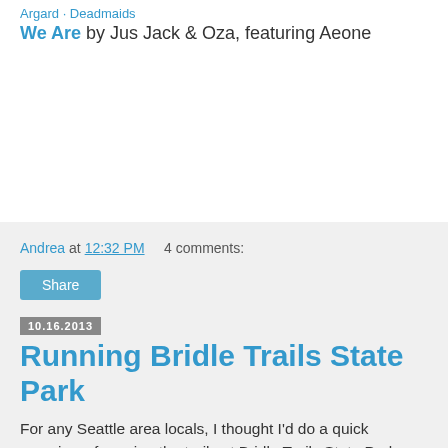Argard · Deadmaids
We Are by Jus Jack & Oza, featuring Aeone
Andrea at 12:32 PM    4 comments:
Share
10.16.2013
Running Bridle Trails State Park
For any Seattle area locals, I thought I'd do a quick overview of running the trails at Bridle Trails State Park.  It's such a great hidden gem.  You don't have to take a long drive to the mountains or foothills to feel like you're immersed in the great outdoors.  At the same time, it backs up against a number of horse stables and beautiful homes, so there are always people around taking a stroll, walking their dogs, and